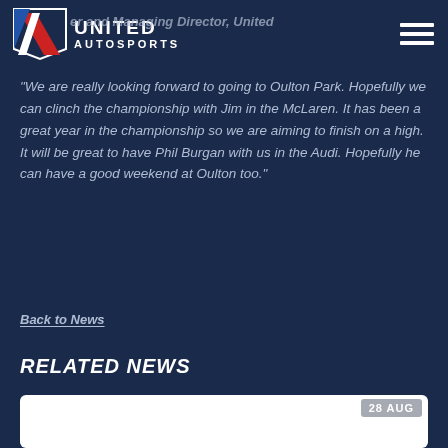Richard Dean, Team Owner and Managing Director, United Autosports
"We are really looking forward to going to Oulton Park. Hopefully we can clinch the championship with Jim in the McLaren. It has been a great year in the championship so we are aiming to finish on a high. It will be great to have Phil Burgan with us in the Audi. Hopefully he can have a good weekend at Oulton too."
Back to News
RELATED NEWS
[Figure (photo): News article card with date badge showing 28 AUG]